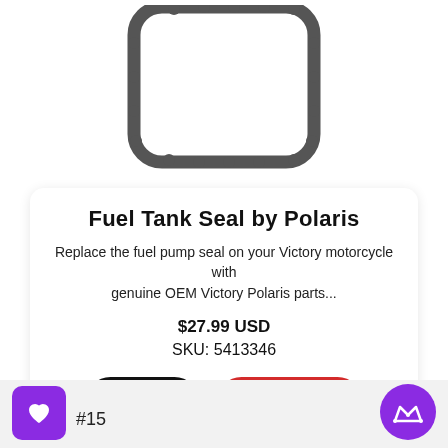[Figure (illustration): A rubber fuel tank seal/gasket component shown from above — a rectangular ring shape with rounded corners and periodic protrusions (bumps) along the edges, rendered in dark gray on white background.]
Fuel Tank Seal by Polaris
Replace the fuel pump seal on your Victory motorcycle with genuine OEM Victory Polaris parts...
$27.99 USD
SKU: 5413346